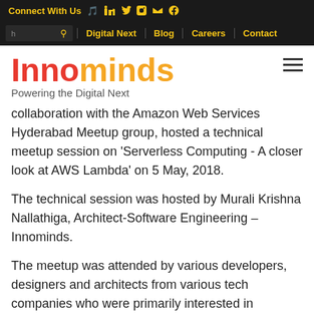Connect With Us [LinkedIn] [Twitter] [Facebook] [YouTube] [Email]
[search] | Digital Next | Blog | Careers | Contact
Innominds — Powering the Digital Next
collaboration with the Amazon Web Services Hyderabad Meetup group, hosted a technical meetup session on 'Serverless Computing - A closer look at AWS Lambda' on 5 May, 2018.
The technical session was hosted by Murali Krishna Nallathiga, Architect-Software Engineering – Innominds.
The meetup was attended by various developers, designers and architects from various tech companies who were primarily interested in broadening their knowledge, get better acquaintance with AWS Lambda Architecture,